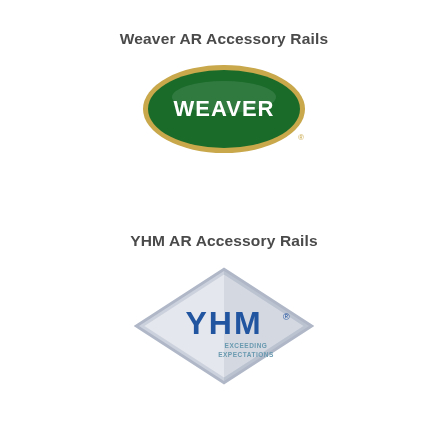Weaver AR Accessory Rails
[Figure (logo): Weaver brand logo: green oval with gold border and white WEAVER text]
YHM AR Accessory Rails
[Figure (logo): YHM brand logo: diamond shape with blue YHM text and EXCEEDING EXPECTATIONS tagline]